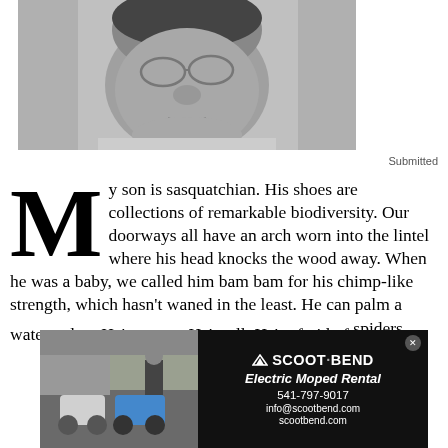[Figure (photo): Black and white portrait photo of a young man with glasses, close-up face shot from the neck up]
Submitted
My son is sasquatchian. His shoes are collections of remarkable biodiversity. Our doorways all have an arch worn into the lintel where his head knocks the wood away. When he was a baby, we called him bam bam for his chimp-like strength, which hasn't waned in the least. He can palm a watermelon. He's strong. He's tall. He's afraid of spiders.
[Figure (photo): Advertisement for Scoot Bend Electric Moped Rental showing two mopeds parked outside with a person standing nearby, and a black panel with company info: SCOOT BEND, Electric Moped Rental, 541-797-9017, info@scootbend.com, scootbend.com]